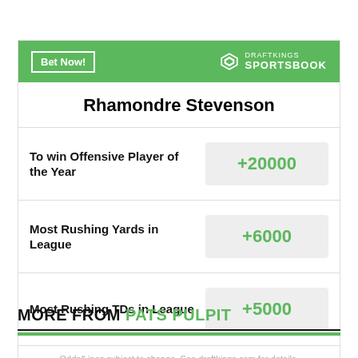Rhamondre Stevenson
| Bet | Odds |
| --- | --- |
| To win Offensive Player of the Year | +20000 |
| Most Rushing Yards in League | +6000 |
| Most Rushing TDs in League | +5000 |
Odds/Lines subject to change. See draftkings.com for details.
MORE FROM PATS PULPIT